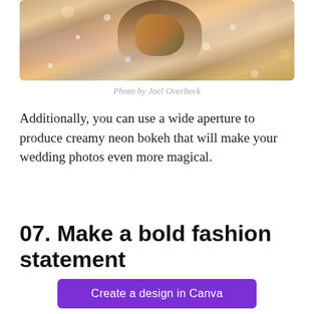[Figure (photo): Partial view of a person with flowers in their hair, bokeh background with warm orange and purple tones, sparkle/rain overlay effect]
Photo by Joel Overbeck
Additionally, you can use a wide aperture to produce creamy neon bokeh that will make your wedding photos even more magical.
07. Make a bold fashion statement
Create a design in Canva